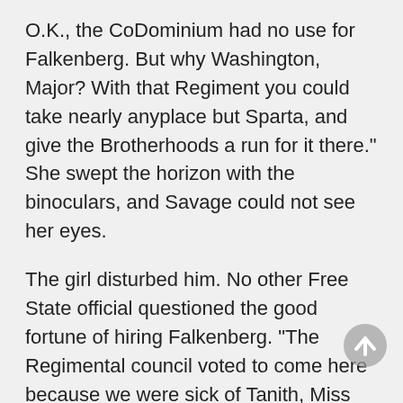O.K., the CoDominium had no use for Falkenberg. But why Washington, Major? With that Regiment you could take nearly anyplace but Sparta, and give the Brotherhoods a run for it there." She swept the horizon with the binoculars, and Savage could not see her eyes.
The girl disturbed him. No other Free State official questioned the good fortune of hiring Falkenberg. "The Regimental council voted to come here because we were sick of Tanith, Miss Horton."
"Yeah. Look, I better get some rest if we've got a fight coming-and we do. Look just at the horizon on the left side of the road." As she turned away Centurion Bryant's